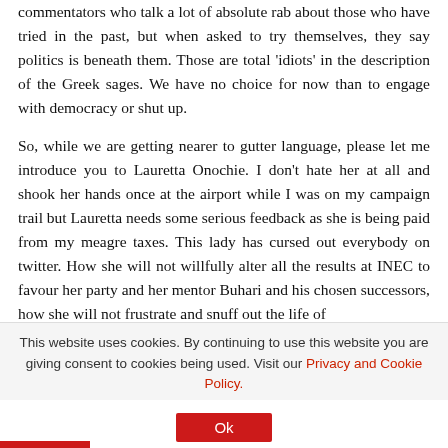commentators who talk a lot of absolute rab about those who have tried in the past, but when asked to try themselves, they say politics is beneath them. Those are total 'idiots' in the description of the Greek sages. We have no choice for now than to engage with democracy or shut up.
So, while we are getting nearer to gutter language, please let me introduce you to Lauretta Onochie. I don't hate her at all and shook her hands once at the airport while I was on my campaign trail but Lauretta needs some serious feedback as she is being paid from my meagre taxes. This lady has cursed out everybody on twitter. How she will not willfully alter all the results at INEC to favour her party and her mentor Buhari and his chosen successors, how she will not frustrate and snuff out the life of
This website uses cookies. By continuing to use this website you are giving consent to cookies being used. Visit our Privacy and Cookie Policy.